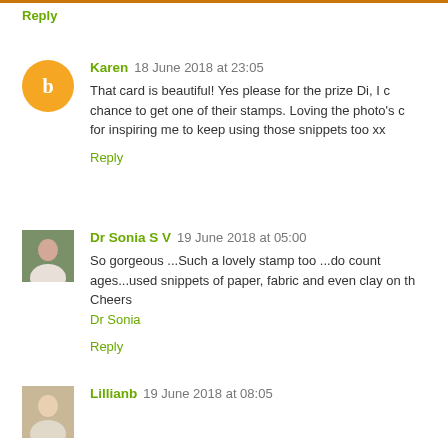Reply
Karen 18 June 2018 at 23:05 — That card is beautiful! Yes please for the prize Di, I c... chance to get one of their stamps. Loving the photo's c... for inspiring me to keep using those snippets too xx
Reply
Dr Sonia S V 19 June 2018 at 05:00 — So gorgeous ...Such a lovely stamp too ...do count ages...used snippets of paper, fabric and even clay on th... Cheers Dr Sonia
Reply
Lillianb 19 June 2018 at 08:05